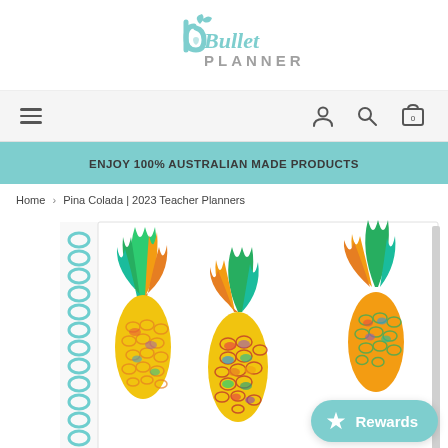[Figure (logo): Bullet Planner logo: teal 'b' icon with heart and leaf, with 'Bullet' in teal script and 'PLANNER' in grey capital letters]
[Figure (other): Navigation bar with hamburger menu on left and account, search, cart icons on right]
ENJOY 100% AUSTRALIAN MADE PRODUCTS
Home > Pina Colada | 2023 Teacher Planners
[Figure (photo): Spiral-bound teacher planner with colorful illustrated pineapple cover design (Pina Colada), showing teal coil binding on left side. Vibrant yellow, green, teal, and orange pineapples on white background.]